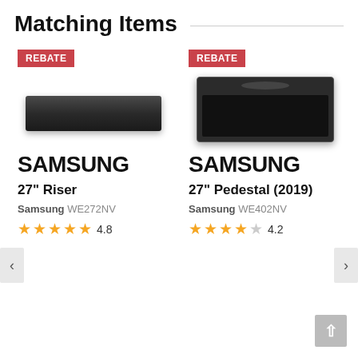Matching Items
[Figure (photo): Product image of Samsung 27 inch Riser appliance, flat black rectangular shape, with red REBATE badge above]
[Figure (photo): Product image of Samsung 27 inch Pedestal 2019, black pedestal with handle and front panel, with red REBATE badge above]
SAMSUNG
27" Riser
Samsung WE272NV
4.8
SAMSUNG
27" Pedestal (2019)
Samsung WE402NV
4.2